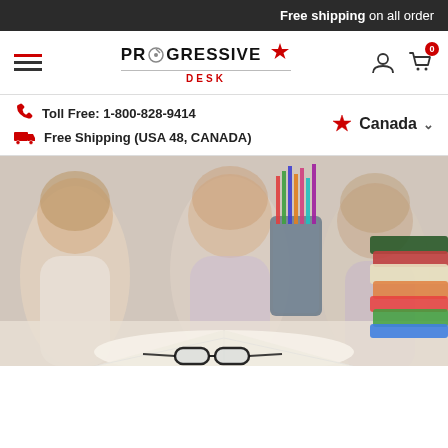Free shipping on all order
[Figure (logo): Progressive Desk logo with maple leaf]
Toll Free: 1-800-828-9414
Free Shipping (USA 48, CANADA)
Canada
[Figure (photo): Three female students studying at a desk with colored pencils in a holder and stacked books, with glasses on an open book in the foreground]